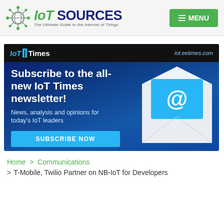IoT SOURCES — The Ultimate Guide to the Internet of Things | MENU
[Figure (screenshot): IoT Times newsletter advertisement banner. Dark blue gradient background. Top bar with IoT Times logo and iot.eetimes.com URL. Main text: 'Subscribe to the all-new IoT Times newsletter! News, analysis and opinions for today's IoT leaders'. Blue SUBSCRIBE NOW button. Envelope icon with @ symbol on right side.]
Home > Communications
> T-Mobile, Twilio Partner on NB-IoT for Developers